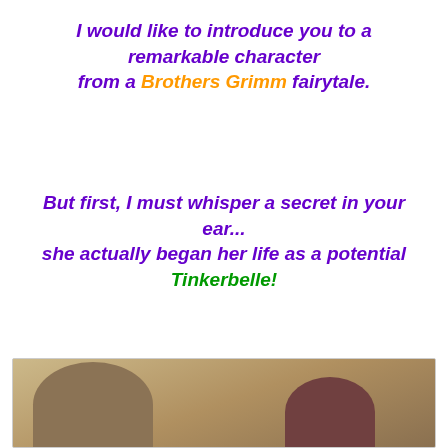I would like to introduce you to a remarkable character from a Brothers Grimm fairytale.
But first, I must whisper a secret in your ear... she actually began her life as a potential Tinkerbelle!
[Figure (photo): Partial photo at bottom of page showing two people, one with braided/decorated hair on the left and another with dark hair on the right, against a yellowish-green background.]